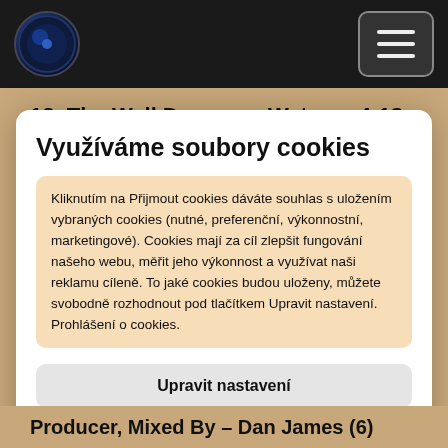[Figure (screenshot): Dark navigation bar with circular logo on left and hamburger menu button on right]
12  The Well Draws no Water    4:18
Využíváme soubory cookies
Kliknutím na Přijmout cookies dáváte souhlas s uložením vybraných cookies (nutné, preferenční, výkonnostní, marketingové). Cookies mají za cíl zlepšit fungování našeho webu, měřit jeho výkonnost a využívat naši reklamu cíleně. To jaké cookies budou uloženy, můžete svobodně rozhodnout pod tlačítkem Upravit nastavení. Prohlášení o cookies.
Upravit nastavení
Přijmout cookies
Producer, Mixed By – Dan James (6)